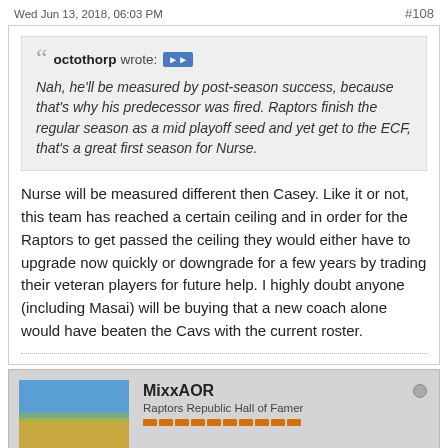Wed Jun 13, 2018, 06:03 PM    #108
octothorp wrote: Nah, he'll be measured by post-season success, because that's why his predecessor was fired. Raptors finish the regular season as a mid playoff seed and yet get to the ECF, that's a great first season for Nurse.
Nurse will be measured different then Casey. Like it or not, this team has reached a certain ceiling and in order for the Raptors to get passed the ceiling they would either have to upgrade now quickly or downgrade for a few years by trading their veteran players for future help. I highly doubt anyone (including Masai) will be buying that a new coach alone would have beaten the Cavs with the current roster.
MixxAOR
Raptors Republic Hall of Famer